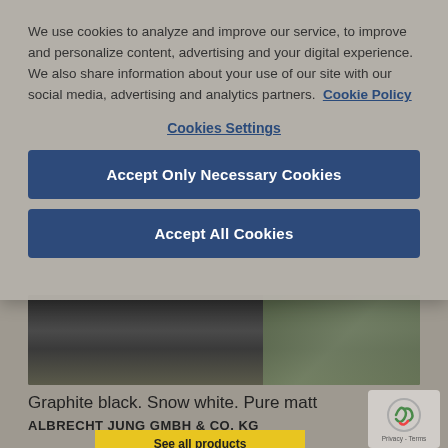[Figure (screenshot): Cookie consent overlay dialog on a website showing two buttons: 'Accept Only Necessary Cookies' and 'Accept All Cookies', with a link to 'Cookie Policy' and 'Cookies Settings'. Below the overlay is a partial view of a product page for Albrecht Jung GmbH & Co. KG showing kitchen imagery.]
We use cookies to analyze and improve our service, to improve and personalize content, advertising and your digital experience. We also share information about your use of our site with our social media, advertising and analytics partners.  Cookie Policy
Cookies Settings
Accept Only Necessary Cookies
Accept All Cookies
Graphite black. Snow white. Pure matt
ALBRECHT JUNG GMBH & CO. KG
See all products